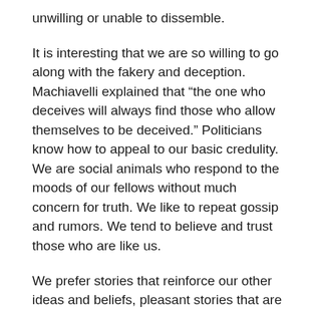unwilling or unable to dissemble.
It is interesting that we are so willing to go along with the fakery and deception. Machiavelli explained that “the one who deceives will always find those who allow themselves to be deceived.” Politicians know how to appeal to our basic credulity. We are social animals who respond to the moods of our fellows without much concern for truth. We like to repeat gossip and rumors. We tend to believe and trust those who are like us.
We prefer stories that reinforce our other ideas and beliefs, pleasant stories that are easy to understand. No politician is going to admit that public affairs are incredibly complex, that human behavior is difficult to control and that unpredictable events will disrupt even our best-laid plans. The politician tells us instead that he or she has a clear plan for success and confident